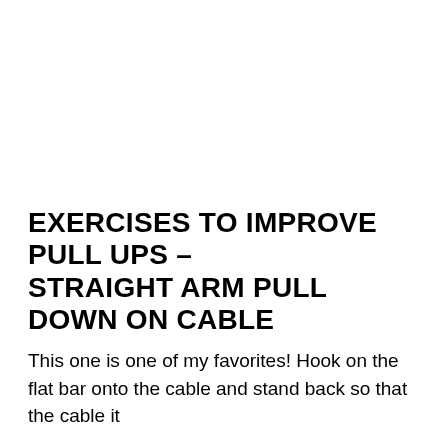EXERCISES TO IMPROVE PULL UPS – STRAIGHT ARM PULL DOWN ON CABLE
This one is one of my favorites! Hook on the flat bar onto the cable and stand back so that the cable it